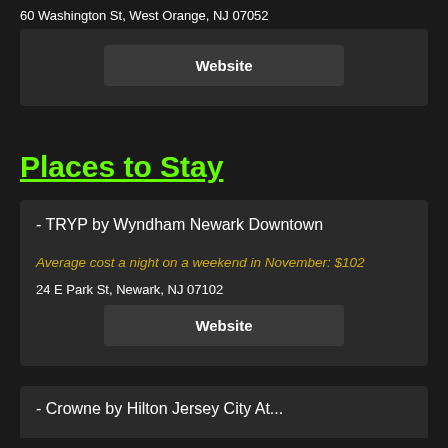60 Washington St, West Orange, NJ 07052
Website
Places to Stay
- TRYP by Wyndham Newark Downtown
Average cost a night on a weekend in November: $102
24 E Park St, Newark, NJ 07102
Website
Crowne by Hilton Jersey City At...